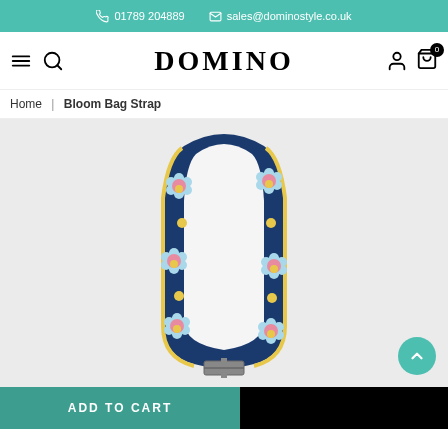📞 01789 204889  ✉ sales@dominostyle.co.uk
[Figure (logo): DOMINO brand logo with hamburger menu, search, user, and cart icons in navigation bar]
Home | Bloom Bag Strap
[Figure (photo): Bloom Bag Strap product photo: a navy blue bag strap with floral pattern featuring light blue flowers with pink and yellow centers, displayed looped on a light grey background]
ADD TO CART